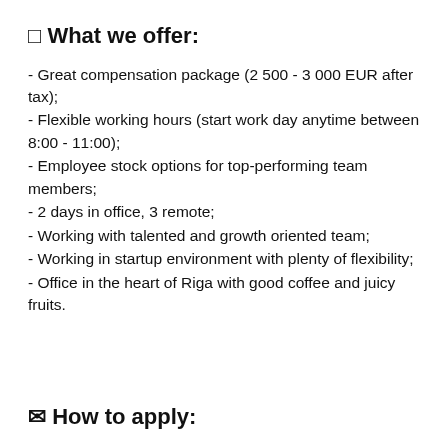🔲 What we offer:
- Great compensation package (2 500 - 3 000 EUR after tax);
- Flexible working hours (start work day anytime between 8:00 - 11:00);
- Employee stock options for top-performing team members;
- 2 days in office, 3 remote;
- Working with talented and growth oriented team;
- Working in startup environment with plenty of flexibility;
- Office in the heart of Riga with good coffee and juicy fruits.
✉ How to apply: